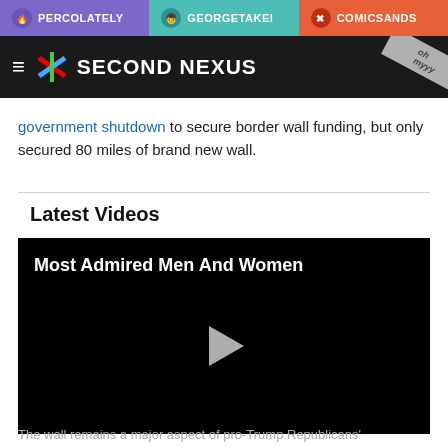PERCOLATELY | GEORGETAKEI | COMICSANDS
SECOND NEXUS
government shutdown to secure border wall funding, but only secured 80 miles of brand new wall.
Latest Videos
[Figure (screenshot): Video player with black background showing title 'Most Admired Men And Women' and a play button triangle in the center]
The wall remains a major aspect of pro-Trump Republicans'